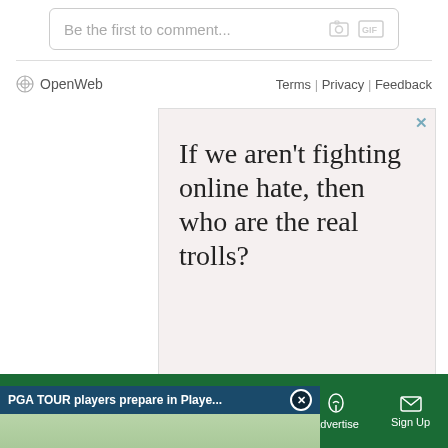Be the first to comment...
OpenWeb  Terms | Privacy | Feedback
[Figure (screenshot): Advertisement with text: If we aren't fighting online hate, then who are the real trolls? on a pinkish-beige background with an X close button and 'Sponsored' label]
[Figure (screenshot): Video popup overlay showing 'PGA TOUR players prepare in Playe...' title bar with close X button, video thumbnail of a golfer stretching outdoors near a truck, with a muted (speaker off) yellow button]
Sections | NY Edition | Philly | Games | Advertise | Sign Up